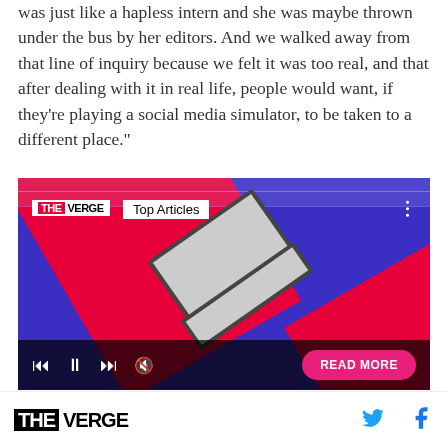was just like a hapless intern and she was maybe thrown under the bus by her editors. And we walked away from that line of inquiry because we felt it was too real, and that after dealing with it in real life, people would want, if they're playing a social media simulator, to be taken to a different place."
[Figure (screenshot): The Verge 'Top Articles' video player advertisement with a gavel image on a blue and red background, showing media playback controls and a READ MORE button.]
THE VERGE